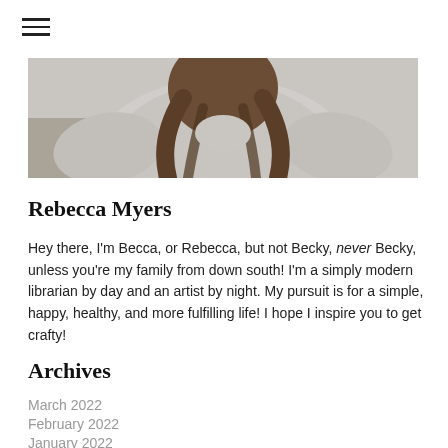[Figure (photo): Cropped photo of a person with long brown hair wearing a grey knit sweater, shot from behind/side]
Rebecca Myers
Hey there, I'm Becca, or Rebecca, but not Becky, never Becky, unless you're my family from down south! I'm a simply modern librarian by day and an artist by night. My pursuit is for a simple, happy, healthy, and more fulfilling life! I hope I inspire you to get crafty!
Archives
March 2022
February 2022
January 2022
September 2021